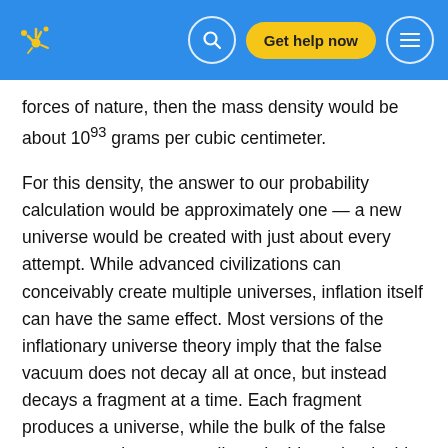Get help now
forces of nature, then the mass density would be about 10sup 93 grams per cubic centimeter.
For this density, the answer to our probability calculation would be approximately one — a new universe would be created with just about every attempt. While advanced civilizations can conceivably create multiple universes, inflation itself can have the same effect. Most versions of the inflationary universe theory imply that the false vacuum does not decay all at once, but instead decays a fragment at a time. Each fragment produces a universe, while the bulk of the false vacuum continues eternally to double and redouble in size.
Each doubling in size might occur in as little as 10sup -37 second. Because the time needed for the development of a advanced civilization is many billions of